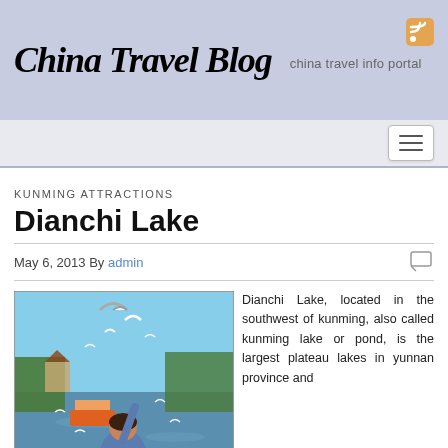China Travel Blog — china travel info portal
KUNMING ATTRACTIONS
Dianchi Lake
May 6, 2013 By admin
[Figure (photo): Photo of a woman feeding seagulls at Dianchi Lake, with water, boats, and trees in the background.]
Dianchi Lake
Dianchi Lake, located in the southwest of kunming, also called kunming lake or pond, is the largest plateau lakes in yunnan province and